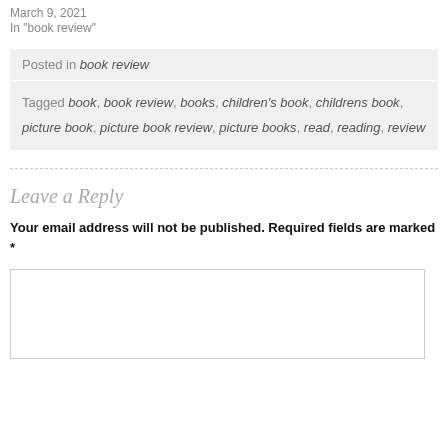March 9, 2021
In "book review"
Posted in book review
Tagged book, book review, books, children's book, childrens book, picture book, picture book review, picture books, read, reading, review
Leave a Reply
Your email address will not be published. Required fields are marked *